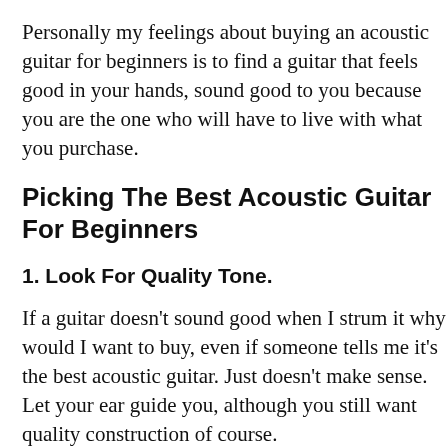Personally my feelings about buying an acoustic guitar for beginners is to find a guitar that feels good in your hands, sound good to you because you are the one who will have to live with what you purchase.
Picking The Best Acoustic Guitar For Beginners
1. Look For Quality Tone.
If a guitar doesn't sound good when I strum it why would I want to buy, even if someone tells me it's the best acoustic guitar. Just doesn't make sense. Let your ear guide you, although you still want quality construction of course.
I started with a really inexpensive acoustic guitar I bought second hand for just $40. Two years later the opportunity presented itself and I upgraded to a better used guitar for $75 while the owner bought a new $800 acoustic guitar.